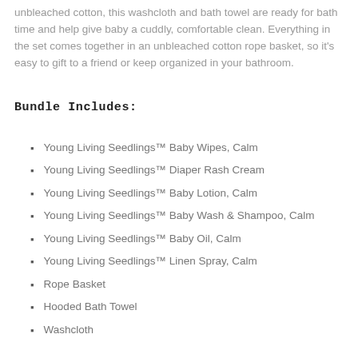unbleached cotton, this washcloth and bath towel are ready for bath time and help give baby a cuddly, comfortable clean. Everything in the set comes together in an unbleached cotton rope basket, so it's easy to gift to a friend or keep organized in your bathroom.
Bundle Includes:
Young Living Seedlings™ Baby Wipes, Calm
Young Living Seedlings™ Diaper Rash Cream
Young Living Seedlings™ Baby Lotion, Calm
Young Living Seedlings™ Baby Wash & Shampoo, Calm
Young Living Seedlings™ Baby Oil, Calm
Young Living Seedlings™ Linen Spray, Calm
Rope Basket
Hooded Bath Towel
Washcloth